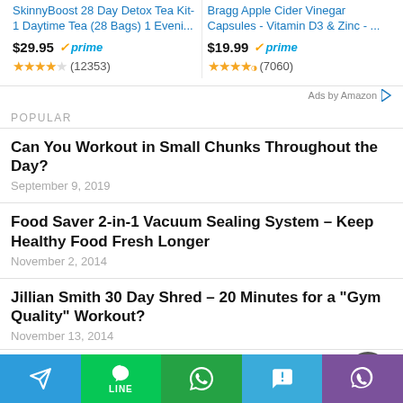[Figure (screenshot): Amazon ad for SkinnyBoost 28 Day Detox Tea Kit-1 Daytime Tea (28 Bags) 1 Eveni... priced at $29.95 with Prime badge, 4 stars, (12353) reviews]
[Figure (screenshot): Amazon ad for Bragg Apple Cider Vinegar Capsules - Vitamin D3 & Zinc - ... priced at $19.99 with Prime badge, 4.5 stars, (7060) reviews]
Ads by Amazon
POPULAR
Can You Workout in Small Chunks Throughout the Day?
September 9, 2019
Food Saver 2-in-1 Vacuum Sealing System – Keep Healthy Food Fresh Longer
November 2, 2014
Jillian Smith 30 Day Shred – 20 Minutes for a "Gym Quality" Workout?
November 13, 2014